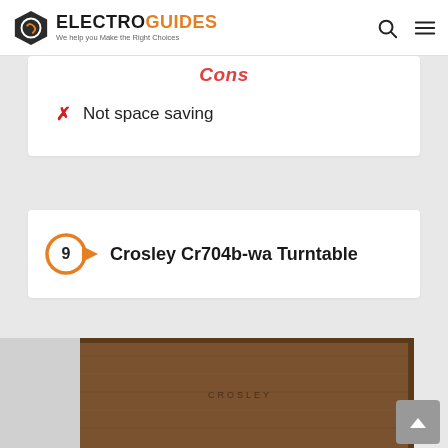ElectroGuides – We help you Make the Right Choices
Cons
Not space saving
9 Crosley Cr704b-wa Turntable
[Figure (photo): Photo of Crosley Cr704b-wa Turntable — wooden box turntable with walnut finish and CROSLEY branding visible]